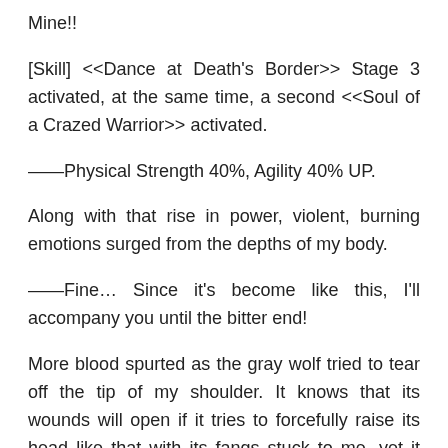Mine!!
[Skill] <<Dance at Death's Border>> Stage 3 activated, at the same time, a second <<Soul of a Crazed Warrior>> activated.
——Physical Strength 40%, Agility 40% UP.
Along with that rise in power, violent, burning emotions surged from the depths of my body.
——Fine… Since it's become like this, I'll accompany you until the bitter end!
More blood spurted as the gray wolf tried to tear off the tip of my shoulder. It knows that its wounds will open if it tries to forcefully raise its head like that with its fangs stuck to me, yet it still refuses to let go.